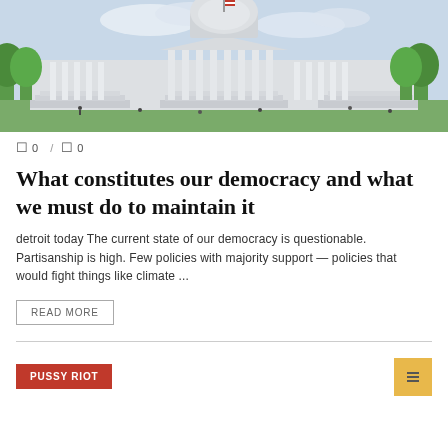[Figure (photo): Photograph of the United States Capitol building exterior, showing the white dome and neoclassical facade with green trees on either side and people on the grounds.]
0 / 0
What constitutes our democracy and what we must do to maintain it
detroit today The current state of our democracy is questionable. Partisanship is high. Few policies with majority support — policies that would fight things like climate ...
READ MORE
PUSSY RIOT